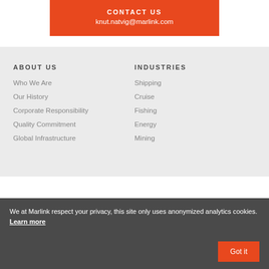CONTACT US
knut.natvig@marlink.com
ABOUT US
INDUSTRIES
Who We Are
Our History
Corporate Responsibility
Quality Commitment
Global Infrastructure
Shipping
Cruise
Fishing
Energy
Mining
We at Marlink respect your privacy, this site only uses anonymized analytics cookies. Learn more